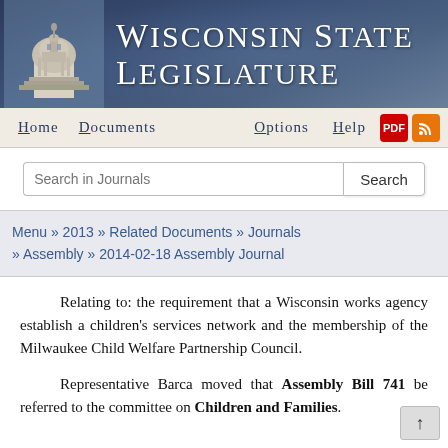Wisconsin State Legislature
Home   Documents   Options   Help
Search in Journals
Menu » 2013 » Related Documents » Journals » Assembly » 2014-02-18 Assembly Journal
Relating to: the requirement that a Wisconsin works agency establish a children's services network and the membership of the Milwaukee Child Welfare Partnership Council.
Representative Barca moved that Assembly Bill 741 be referred to the committee on Children and Families.